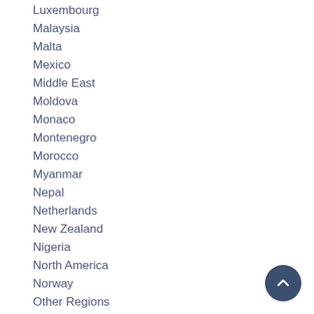Luxembourg
Malaysia
Malta
Mexico
Middle East
Moldova
Monaco
Montenegro
Morocco
Myanmar
Nepal
Netherlands
New Zealand
Nigeria
North America
Norway
Other Regions
Outside America
Pakis…